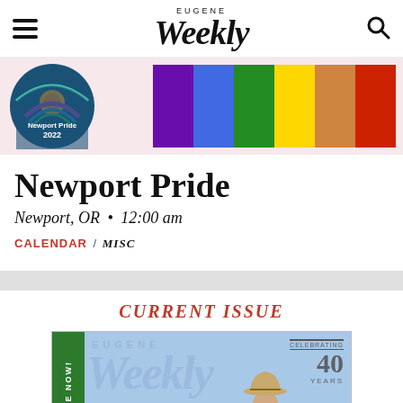Eugene Weekly
[Figure (illustration): Newport Pride 2022 banner with circular logo and rainbow color bars]
Newport Pride
Newport, OR • 12:00 am
CALENDAR / MISC
CURRENT ISSUE
[Figure (photo): Eugene Weekly magazine cover celebrating 40 years, showing a person in a cowboy hat with Eugene Weekly text overlay]